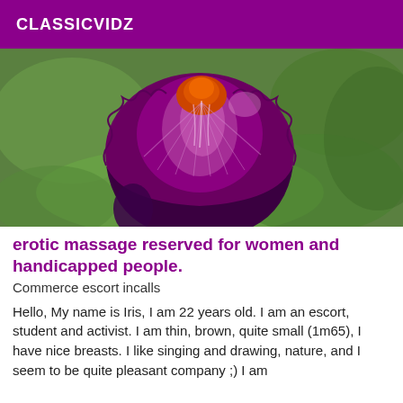CLASSICVIDZ
[Figure (photo): Close-up photograph of a deep purple and magenta bearded iris flower with orange-red beard, against a blurred green garden background.]
erotic massage reserved for women and handicapped people.
Commerce escort incalls
Hello, My name is Iris, I am 22 years old. I am an escort, student and activist. I am thin, brown, quite small (1m65), I have nice breasts. I like singing and drawing, nature, and I seem to be quite pleasant company ;) I am